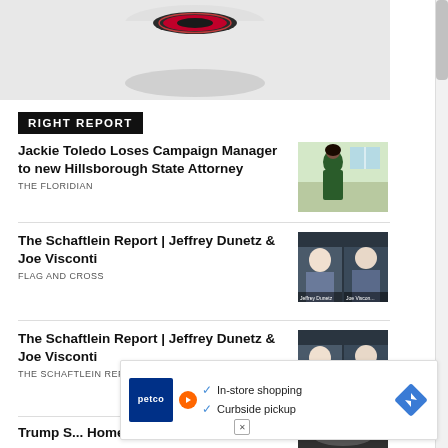[Figure (photo): Top portion of a smart home device (white cylinder with red/black top element), partially cropped]
RIGHT REPORT
Jackie Toledo Loses Campaign Manager to new Hillsborough State Attorney
THE FLORIDIAN
[Figure (photo): Woman in green dress standing in kitchen]
The Schaftlein Report | Jeffrey Dunetz & Joe Visconti
FLAG AND CROSS
[Figure (screenshot): Video screenshot showing two men in split screen: Jeffrey Dunetz (Editor, LidBlog) and Joe Visconti (Political Analyst & Host)]
The Schaftlein Report | Jeffrey Dunetz & Joe Visconti
THE SCHAFTLEIN REPORT
[Figure (screenshot): Video screenshot showing two men in split screen: Jeffrey Dunetz and Joe Visconti]
Trump S... Homes O...
[Figure (infographic): Petco advertisement overlay with In-store shopping and Curbside pickup checkmarks, navigation direction icon]